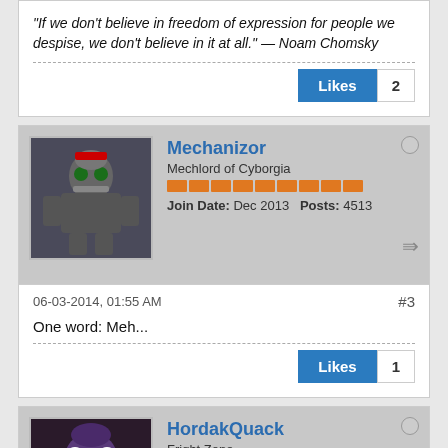"If we don't believe in freedom of expression for people we despise, we don't believe in it at all." — Noam Chomsky
Likes 2
Mechanizor
Mechlord of Cyborgia
Join Date: Dec 2013   Posts: 4513
06-03-2014, 01:55 AM   #3
One word: Meh...
Likes 1
HordakQuack
Fright Zone
Join Date: May 2014   Posts: 17